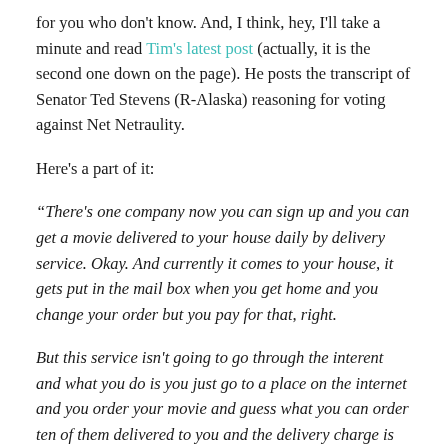for you who don't know. And, I think, hey, I'll take a minute and read Tim's latest post (actually, it is the second one down on the page). He posts the transcript of Senator Ted Stevens (R-Alaska) reasoning for voting against Net Netraulity.
Here's a part of it:
“There's one company now you can sign up and you can get a movie delivered to your house daily by delivery service. Okay. And currently it comes to your house, it gets put in the mail box when you get home and you change your order but you pay for that, right.
But this service isn't going to go through the interent and what you do is you just go to a place on the internet and you order your movie and guess what you can order ten of them delivered to you and the delivery charge is free.